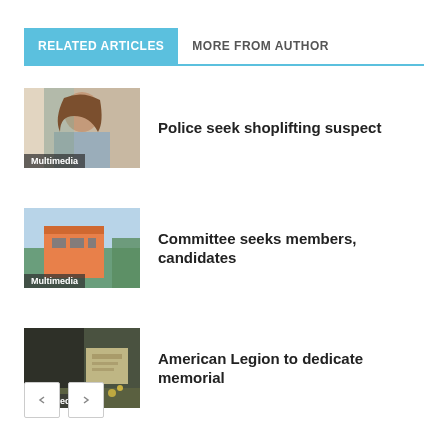RELATED ARTICLES
MORE FROM AUTHOR
[Figure (photo): Photo of a young woman used as article thumbnail for 'Police seek shoplifting suspect', with Multimedia label]
Police seek shoplifting suspect
[Figure (photo): Photo of an orange building used as article thumbnail for 'Committee seeks members, candidates', with Multimedia label]
Committee seeks members, candidates
[Figure (photo): Photo of a memorial/outdoor scene used as article thumbnail for 'American Legion to dedicate memorial', with Multimedia label]
American Legion to dedicate memorial